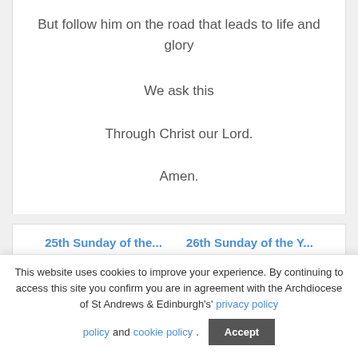But follow him on the road that leads to life and glory
We ask this
Through Christ our Lord.
Amen.
25th Sunday of the...   26th Sunday of the Y...
This website uses cookies to improve your experience. By continuing to access this site you confirm you are in agreement with the Archdiocese of St Andrews & Edinburgh's' privacy policy and cookie policy.